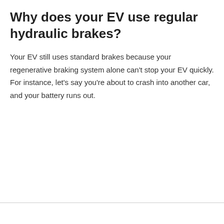Why does your EV use regular hydraulic brakes?
Your EV still uses standard brakes because your regenerative braking system alone can't stop your EV quickly. For instance, let's say you're about to crash into another car, and your battery runs out.